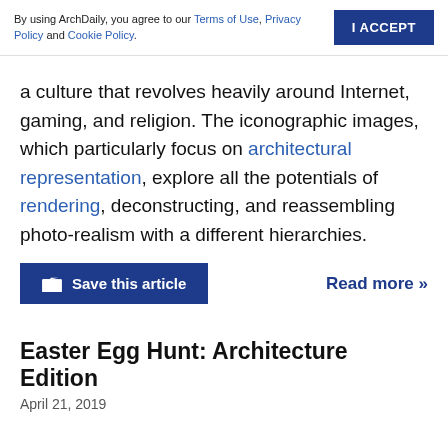By using ArchDaily, you agree to our Terms of Use, Privacy Policy and Cookie Policy. I ACCEPT
a culture that revolves heavily around Internet, gaming, and religion. The iconographic images, which particularly focus on architectural representation, explore all the potentials of rendering, deconstructing, and reassembling photo-realism with a different hierarchies.
Save this article   Read more »
Easter Egg Hunt: Architecture Edition
April 21, 2019